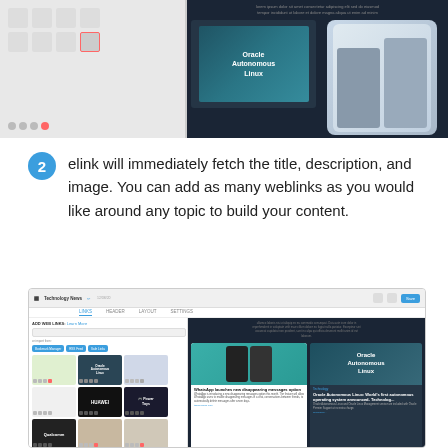[Figure (screenshot): Top portion of a split screenshot showing elink interface on the left (grey panel with grid) and a dark panel on the right with Oracle Autonomous Linux card and phone image]
2  elink will immediately fetch the title, description, and image. You can add as many weblinks as you would like around any topic to build your content.
[Figure (screenshot): Full elink application screenshot showing the Technology News newsletter editor. Left panel has ADD WEB LINKS section with search bar, Bookmark Manager, RSS Feed, Safe Links buttons, and a 3x3 grid of article cards (including Huawei, Qualcomm, Power Toys, Oracle Autonomous Linux cards). Right panel shows dark newsletter preview with article cards: WhatsApp launches new disappearing messages option and Oracle Autonomous Linux: World's first autonomous operating system announced.]